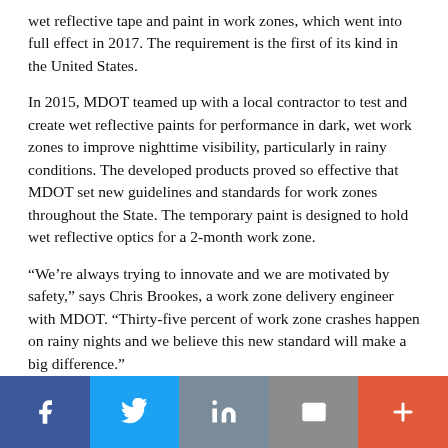wet reflective tape and paint in work zones, which went into full effect in 2017. The requirement is the first of its kind in the United States.
In 2015, MDOT teamed up with a local contractor to test and create wet reflective paints for performance in dark, wet work zones to improve nighttime visibility, particularly in rainy conditions. The developed products proved so effective that MDOT set new guidelines and standards for work zones throughout the State. The temporary paint is designed to hold wet reflective optics for a 2-month work zone.
“We’re always trying to innovate and we are motivated by safety,” says Chris Brookes, a work zone delivery engineer with MDOT. “Thirty-five percent of work zone crashes happen on rainy nights and we believe this new standard will make a big difference.”
Social share bar: Facebook, Twitter, LinkedIn, Email, More